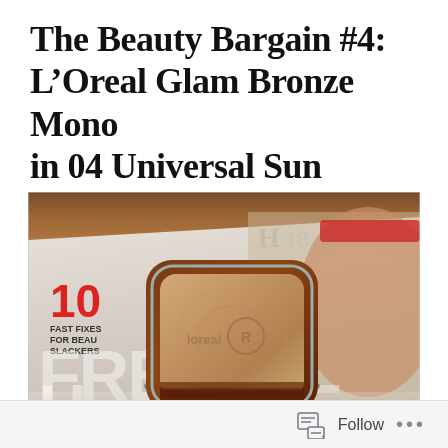The Beauty Bargain #4: L’Oreal Glam Bronze Mono in 04 Universal Sun
[Figure (photo): A L'Oreal Glam Bronze Mono bronzer compact in a brown/orange case with silver trim sits on top of a fashion magazine. The magazine cover shows partial text including '10 FAST FIXES FOR BEAUTY SLACKERS' and 'FRESH FACE', with a woman's face visible in the background.]
Follow ...